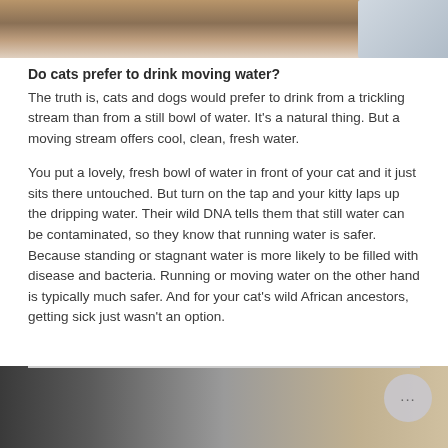[Figure (photo): Top portion of photo showing a fluffy brown/tan cat or dog lying on a surface, with a gloved hand visible on the right side]
Do cats prefer to drink moving water?
The truth is, cats and dogs would prefer to drink from a trickling stream than from a still bowl of water. It's a natural thing. But a moving stream offers cool, clean, fresh water.
You put a lovely, fresh bowl of water in front of your cat and it just sits there untouched. But turn on the tap and your kitty laps up the dripping water. Their wild DNA tells them that still water can be contaminated, so they know that running water is safer. Because standing or stagnant water is more likely to be filled with disease and bacteria. Running or moving water on the other hand is typically much safer. And for your cat's wild African ancestors, getting sick just wasn't an option.
[Figure (photo): Bottom photo showing what appears to be a metal rack or cage structure with blurred background, partially visible]